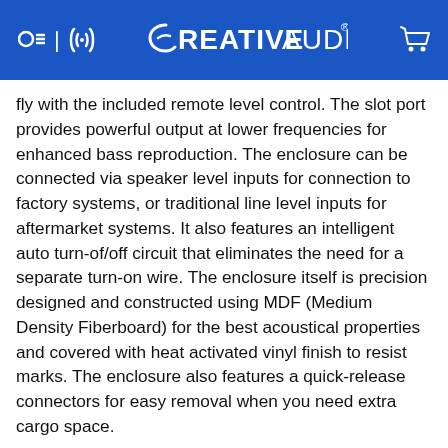CREATIVE AUDIO
fly with the included remote level control. The slot port provides powerful output at lower frequencies for enhanced bass reproduction. The enclosure can be connected via speaker level inputs for connection to factory systems, or traditional line level inputs for aftermarket systems. It also features an intelligent auto turn-of/off circuit that eliminates the need for a separate turn-on wire. The enclosure itself is precision designed and constructed using MDF (Medium Density Fiberboard) for the best acoustical properties and covered with heat activated vinyl finish to resist marks. The enclosure also features a quick-release connectors for easy removal when you need extra cargo space.
Optimized 12" Low Impedance Woofer
ass-D Amplifier with Optimized "Closed n
Adjustable 12db/Octave low pass crossover